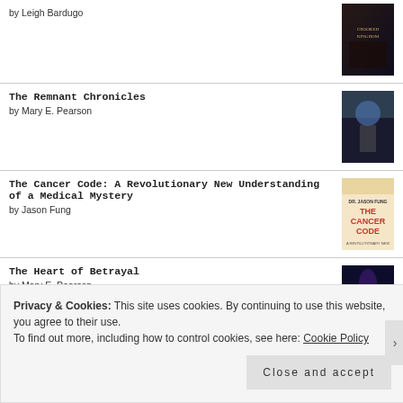by Leigh Bardugo
The Remnant Chronicles
by Mary E. Pearson
The Cancer Code: A Revolutionary New Understanding of a Medical Mystery
by Jason Fung
The Heart of Betrayal
by Mary E. Pearson
Privacy & Cookies: This site uses cookies. By continuing to use this website, you agree to their use.
To find out more, including how to control cookies, see here: Cookie Policy
Close and accept